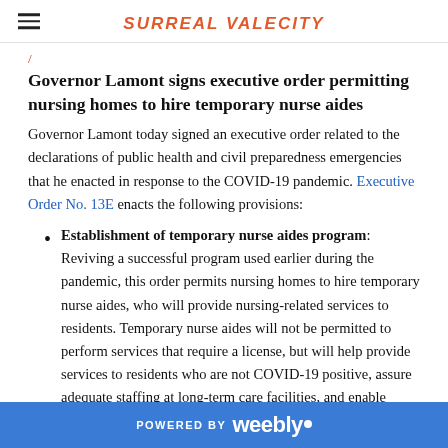SURREAL VALECITY
Governor Lamont signs executive order permitting nursing homes to hire temporary nurse aides
Governor Lamont today signed an executive order related to the declarations of public health and civil preparedness emergencies that he enacted in response to the COVID-19 pandemic. Executive Order No. 13E enacts the following provisions:
Establishment of temporary nurse aides program: Reviving a successful program used earlier during the pandemic, this order permits nursing homes to hire temporary nurse aides, who will provide nursing-related services to residents. Temporary nurse aides will not be permitted to perform services that require a license, but will help provide services to residents who are not COVID-19 positive, assure adequate staffing at long-term care facilities, and enable permanent nursing home staff to focus care on
POWERED BY weebly